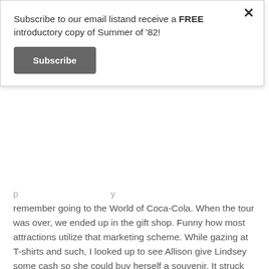Subscribe to our email listand receive a FREE introductory copy of Summer of '82!
Subscribe
remember going to the World of Coca-Cola. When the tour was over, we ended up in the gift shop. Funny how most attractions utilize that marketing scheme. While gazing at T-shirts and such, I looked up to see Allison give Lindsey some cash so she could buy herself a souvenir. It struck me as sweet and selfless. My daughter took the money and bought Allison a gift. I set in amazement watching the two of them and thinking I could learn a lot from both of them.
One night, I was cooking dinner and waiting Allison's arrival. She walked in the door wearing this ankle-length skirt She stopped just inside the door and begin pulling the skirt up towards her knees. I could not figure out what in the world the